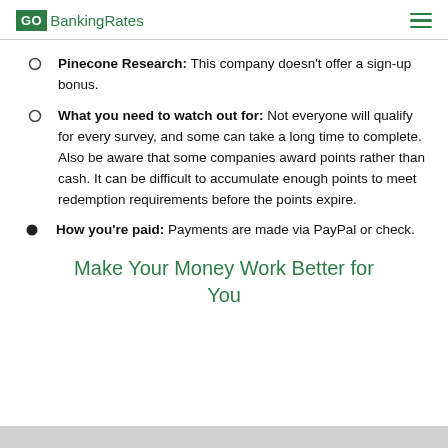GOBankingRates
Pinecone Research: This company doesn't offer a sign-up bonus.
What you need to watch out for: Not everyone will qualify for every survey, and some can take a long time to complete. Also be aware that some companies award points rather than cash. It can be difficult to accumulate enough points to meet redemption requirements before the points expire.
How you're paid: Payments are made via PayPal or check.
Make Your Money Work Better for You